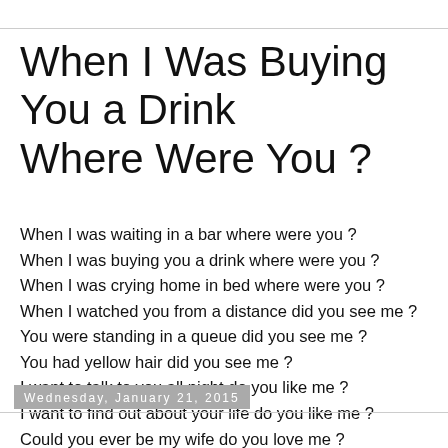When I Was Buying You a Drink
Where Were You ?
When I was waiting in a bar where were you ?
When I was buying you a drink where were you ?
When I was crying home in bed where were you ?
When I watched you from a distance did you see me ?
You were standing in a queue did you see me ?
You had yellow hair did you see me ?
I want to talk to you all night do you like me ?
I want to find out about your life do you like me ?
Could you ever be my wife do you love me ?
Wednesday, January 21, 2015
30th year - N° 21 Wednesday, 21 January 2015